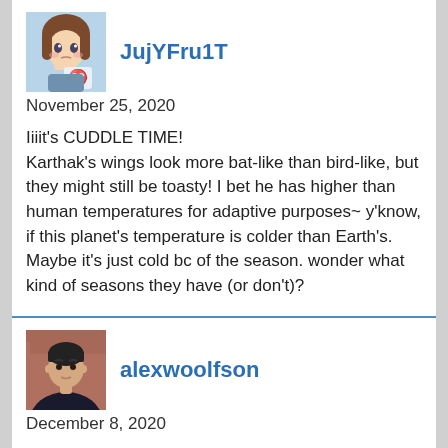[Figure (illustration): Anime-style avatar of JujYFru1T with brown hair and a blue Aries symbol]
JujYFru1T
November 25, 2020
Iiiit's CUDDLE TIME! Karthak's wings look more bat-like than bird-like, but they might still be toasty! I bet he has higher than human temperatures for adaptive purposes~ y'know, if this planet's temperature is colder than Earth's. Maybe it's just cold bc of the season. wonder what kind of seasons they have (or don't)?
[Figure (photo): Profile photo of alexwoolfson, a man in a dark shirt against a brick background]
alexwoolfson
December 8, 2020